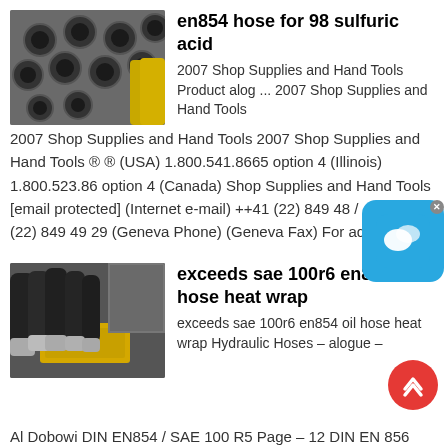[Figure (photo): Stack of black rubber hoses with metal flanges viewed from the ends, with yellow hoses in background]
en854 hose for 98 sulfuric acid
2007 Shop Supplies and Hand Tools Product alog ... 2007 Shop Supplies and Hand Tools 2007 Shop Supplies and Hand Tools ® ® (USA) 1.800.541.8665 option 4 (Illinois) 1.800.523.86 option 4 (Canada) Shop Supplies and Hand Tools [email protected] (Internet e-mail) ++41 (22) 849 48 / 4428 ++41 (22) 849 49 29 (Geneva Phone) (Geneva Fax) For additional ...
[Figure (photo): Black hydraulic hoses with silver metal fittings/connectors attached to yellow equipment]
exceeds sae 100r6 en854 oil hose heat wrap
exceeds sae 100r6 en854 oil hose heat wrap Hydraulic Hoses - alogue - Al Dobowi DIN EN854 / SAE 100 R5 Page - 12 DIN EN 856